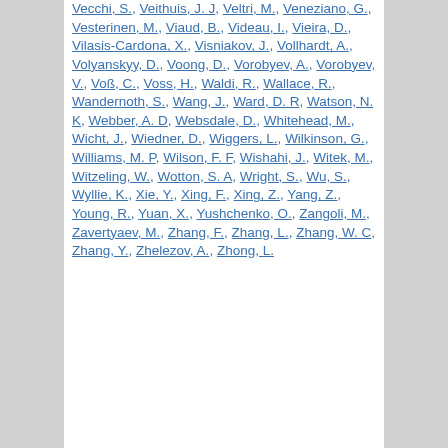Vecchi, S., Veithuis, J. J, Veltri, M., Veneziano, G., Vesterinen, M., Viaud, B., Videau, I., Vieira, D., Vilasis-Cardona, X., Visniakov, J., Vollhardt, A., Volyanskyy, D., Voong, D., Vorobyev, A., Vorobyev, V., Voß, C., Voss, H., Waldi, R., Wallace, R., Wandernoth, S., Wang, J., Ward, D. R, Watson, N. K, Webber, A. D, Websdale, D., Whitehead, M., Wicht, J., Wiedner, D., Wiggers, L., Wilkinson, G., Williams, M. P, Wilson, F. F, Wishahi, J., Witek, M., Witzeling, W., Wotton, S. A, Wright, S., Wu, S., Wyllie, K., Xie, Y., Xing, F., Xing, Z., Yang, Z., Young, R., Yuan, X., Yushchenko, O., Zangoli, M., Zavertyaev, M., Zhang, F., Zhang, L., Zhang, W. C, Zhang, Y., Zhelezov, A., Zhong, L.